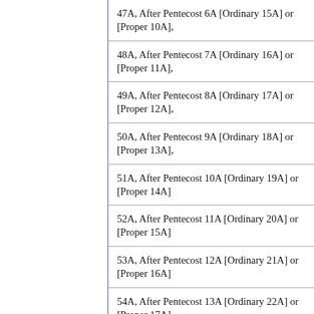47A, After Pentecost 6A [Ordinary 15A] or [Proper 10A],
48A, After Pentecost 7A [Ordinary 16A] or [Proper 11A],
49A, After Pentecost 8A [Ordinary 17A] or [Proper 12A],
50A, After Pentecost 9A [Ordinary 18A] or [Proper 13A],
51A, After Pentecost 10A [Ordinary 19A] or [Proper 14A]
52A, After Pentecost 11A [Ordinary 20A] or [Proper 15A]
53A, After Pentecost 12A [Ordinary 21A] or [Proper 16A]
54A, After Pentecost 13A [Ordinary 22A] or [Proper 17A]
55A, After Pentecost 14A [Ordinary 23A] or [Proper 18A]
56A, After Pentecost 15A [Ordinary 24A] or [Proper 19A]
57A, After Pentecost 16A [Ordinary 25A] or [Proper 20A]
58A, After Pentecost 17A [Ordinary 26A] or [Proper 21A]
59A, After Pentecost 18A [Ordinary 27A] or [Proper 22A]